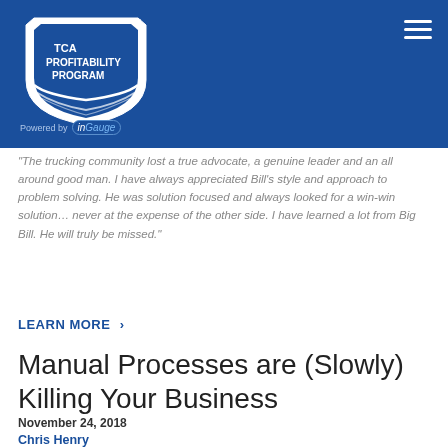TCA Profitability Program — Powered by InGauge
"The trucking community lost a true advocate, a genuine leader and an all around good man. I have always appreciated Bill's style and approach to problem solving. He was solution focused and always looked for a win-win solution… never at the expense of the other side. I have learned a lot from Big Bill. He will truly be missed."
LEARN MORE >
Manual Processes are (Slowly) Killing Your Business
November 24, 2018
Chris Henry